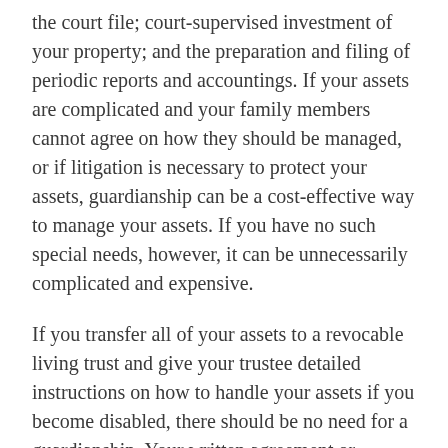the court file; court-supervised investment of your property; and the preparation and filing of periodic reports and accountings. If your assets are complicated and your family members cannot agree on how they should be managed, or if litigation is necessary to protect your assets, guardianship can be a cost-effective way to manage your assets. If you have no such special needs, however, it can be unnecessarily complicated and expensive.
If you transfer all of your assets to a revocable living trust and give your trustee detailed instructions on how to handle your assets if you become disabled, there should be no need for a guardianship. Your written agreement or declaration can specifically authorize your trustee to rely on a letter from your physician as proof of your incapacity.
A guardian can establish, or complete funding of, a